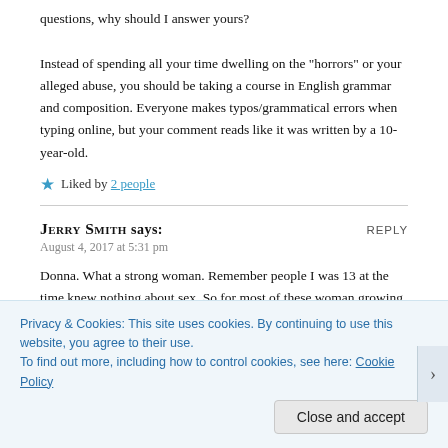questions, why should I answer yours?

Instead of spending all your time dwelling on the “horrors” or your alleged abuse, you should be taking a course in English grammar and composition. Everyone makes typos/grammatical errors when typing online, but your comment reads like it was written by a 10-year-old.
Liked by 2 people
Jerry Smith says:
REPLY
August 4, 2017 at 5:31 pm
Donna. What a strong woman. Remember people I was 13 at the time knew nothing about sex. So for most of these woman growing up in catholic homes I’m sure they were clueless also. This was68-70. To go to a picnic and get raped like Donna was Just plain out crazy.the abuse I think at that time was
Privacy & Cookies: This site uses cookies. By continuing to use this website, you agree to their use.
To find out more, including how to control cookies, see here: Cookie Policy
Close and accept